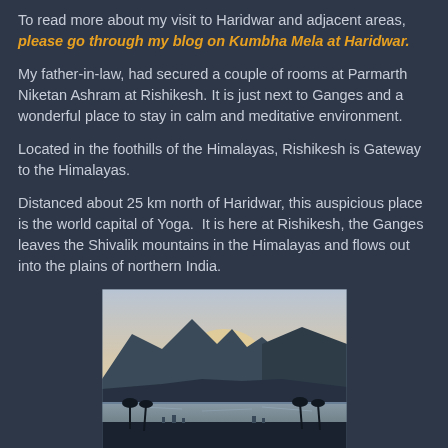To read more about my visit to Haridwar and adjacent areas, please go through my blog on Kumbha Mela at Haridwar.
My father-in-law, had secured a couple of rooms at Parmarth Niketan Ashram at Rishikesh. It is just next to Ganges and a wonderful place to stay in calm and meditative environment.
Located in the foothills of the Himalayas, Rishikesh is Gateway to the Himalayas.
Distanced about 25 km north of Haridwar, this auspicious place is the world capital of Yoga.  It is here at Rishikesh, the Ganges leaves the Shivalik mountains in the Himalayas and flows out into the plains of northern India.
[Figure (photo): Sunset or dawn view over the Ganges river near Rishikesh with Himalayan hills silhouetted in the background, pale sky with warm glow, palm trees and city lights in the foreground.]